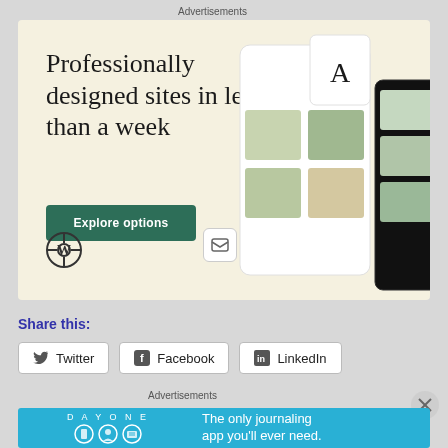Advertisements
[Figure (screenshot): WordPress advertisement banner with cream/beige background showing text 'Professionally designed sites in less than a week', a green 'Explore options' button, WordPress logo, and website mockup screenshots on the right side.]
Share this:
Twitter  Facebook  LinkedIn
Advertisements
[Figure (screenshot): Day One app advertisement with blue background showing 'DAY ONE' logo text, three circular app icons, and text 'The only journaling app you'll ever need.']